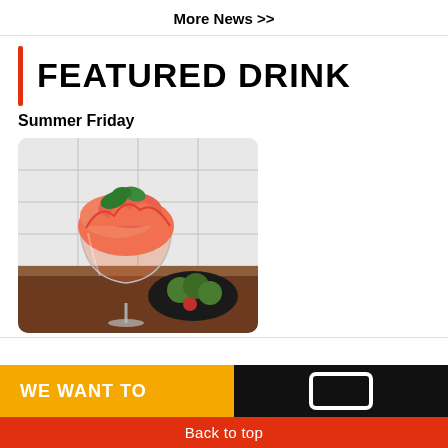More News >>
FEATURED DRINK
Summer Friday
[Figure (photo): A pink/orange frozen cocktail in a coupe glass garnished with basil leaves, with a dark bowl of limes and a raspberry in the background on a wooden bar surface against a white tile wall.]
WE WANT TO
Back to top